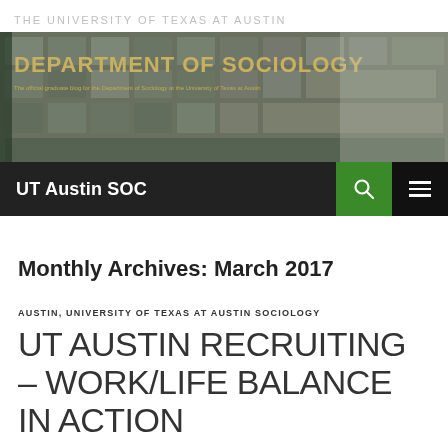THE UNIVERSITY OF TEXAS AT AUSTIN
[Figure (photo): Department of Sociology banner photo showing a building with glass windows and the text 'DEPARTMENT OF SOCIOLOGY' overlaid in gold letters with subtitle 'The official graduate blog for the Department of Sociology at the University of Texas at Austin']
UT Austin SOC
Monthly Archives: March 2017
AUSTIN, UNIVERSITY OF TEXAS AT AUSTIN SOCIOLOGY
UT AUSTIN RECRUITING – WORK/LIFE BALANCE IN ACTION